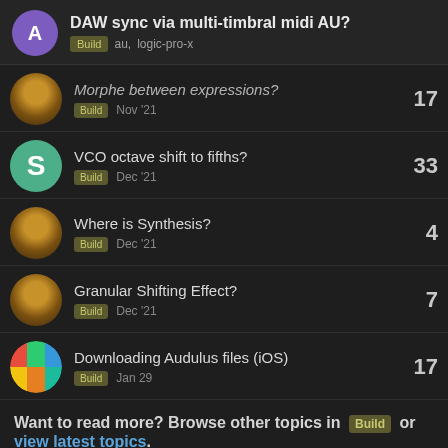DAW sync via multi-timbral midi AU? — Build  au  logic-pro-x
Morphe between expressions? — Build — Nov '21 — 17 replies
VCO octave shift to fifths? — Build — Dec '21 — 33 replies
Where is Synthesis? — Build — Dec '21 — 4 replies
Granular Shifting Effect? — Build — Dec '21 — 7 replies
Downloading Audulus files (iOS) — Build — Jan 29 — 17 replies
Want to read more? Browse other topics in Build or view latest topics.
13 / 14